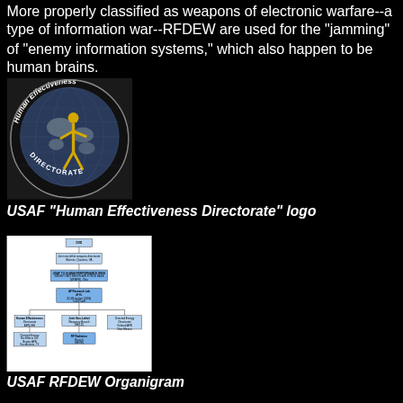More properly classified as weapons of electronic warfare--a type of information war--RFDEW are used for the "jamming" of "enemy information systems," which also happen to be human brains.
[Figure (logo): USAF Human Effectiveness Directorate circular logo showing a globe with a golden human figure striding across it, with text 'Human Effectiveness' at top and 'DIRECTORATE' at bottom]
USAF "Human Effectiveness Directorate" logo
[Figure (organizational-chart): USAF RFDEW Organigram showing DOD hierarchy: Joint non-lethal weapons directorate (Marines, Quantico, VA), USAF 711 Human Performance Wing (Wright Patterson Air Force Base, Dayton, Ohio), AF Research Lab (AFRL, $2.4B budget 2006, 9,400 staff), with branches to Human Effectiveness Directorate (AFRL/HE), Directed Energy Directorate (Kirtland AFB, New Mexico), Joint Non-Lethal Weaponry Branch (HELD), Directed Energy Bio Effects Div. (Brooks AFB, San Antonio, TX), and RF Radiation Branch (HEOR)]
USAF RFDEW Organigram